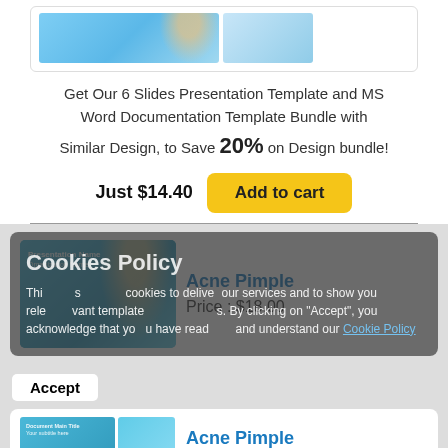[Figure (screenshot): Thumbnail images of a presentation template featuring a woman with acne]
Get Our 6 Slides Presentation Template and MS Word Documentation Template Bundle with Similar Design, to Save 20% on Design bundle!
Just $14.40  Add to cart
[Figure (screenshot): Product card showing Acne Pimple presentation template image]
Acne Pimple
Price : $18.00
Cookies Policy
This [site uses] cookies to deliver our services and to show you relevant templates. By clicking on "Accept", you acknowledge that you have read and understand our Cookie Policy
Accept
[Figure (screenshot): Product card showing Acne Pimple document template thumbnails]
Acne Pimple
Price : $9.00